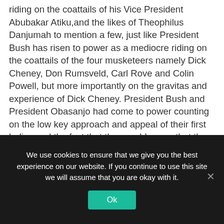riding on the coattails of his Vice President Abubakar Atiku,and the likes of Theophilus Danjumah to mention a few, just like President Bush has risen to power as a mediocre riding on the coattails of the four musketeers namely Dick Cheney, Don Rumsveld, Carl Rove and Colin Powell, but more importantly on the gravitas and experience of Dick Cheney. President Bush and President Obasanjo had come to power counting on the low key approach and appeal of their first ladies and the fact that they could argue that they were
We use cookies to ensure that we give you the best experience on our website. If you continue to use this site we will assume that you are okay with it.